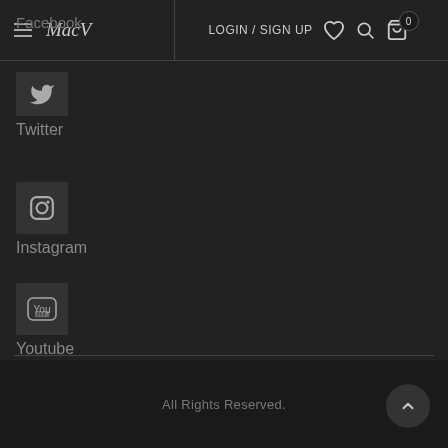MacV — LOGIN / SIGN UP — navigation bar with hamburger, logo, login/signup, heart, search, cart (0)
Facebook
Twitter
Instagram
Youtube
All Rights Reserved.